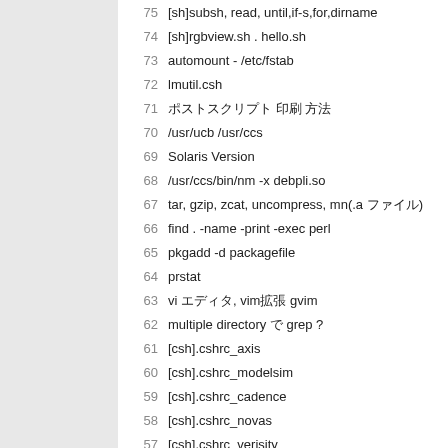75  [sh]subsh, read, until,if-s,for,dirname
74  [sh]rgbview.sh . hello.sh
73  automount - /etc/fstab
72  lmutil.csh
71  ポストスクリプト 印刷 方法
70  /usr/ucb /usr/ccs
69  Solaris Version
68  /usr/ccs/bin/nm -x debpli.so
67  tar, gzip, zcat, uncompress, mn(.a ファイル)
66  find . -name -print -exec perl
65  pkgadd -d packagefile
64  prstat
63  vi エディタ, vim拡張 gvim
62  multiple directory で grep ?
61  [csh].cshrc_axis
60  [csh].cshrc_modelsim
59  [csh].cshrc_cadence
58  [csh].cshrc_novas
57  [csh].cshrc_verisity